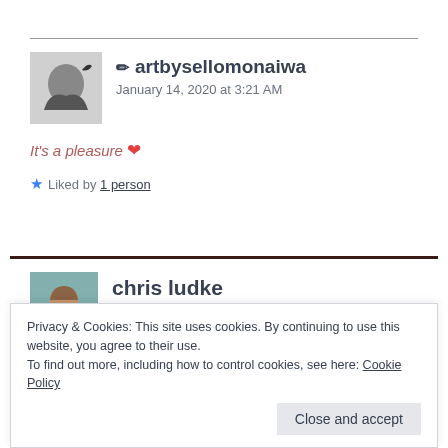✏ artbysellomonaiwa
January 14, 2020 at 3:21 AM
It's a pleasure ❤
★ Liked by 1 person
chris ludke
January 12, 2020 at 9:27 AM
Privacy & Cookies: This site uses cookies. By continuing to use this website, you agree to their use.
To find out more, including how to control cookies, see here: Cookie Policy